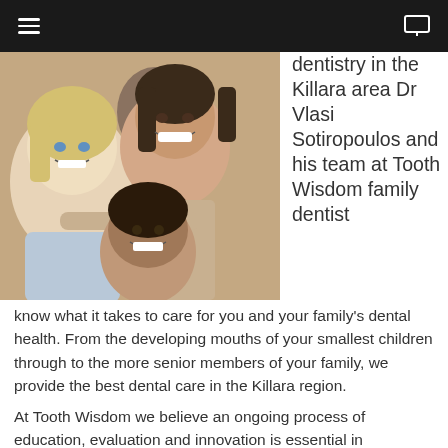[navigation bar with hamburger menu and monitor icon]
[Figure (photo): A smiling family group including an older blonde woman, a young adult woman, a man in the background, and a boy in the foreground, all hugging and laughing]
dentistry in the Killara area Dr Vlasi Sotiropoulos and his team at Tooth Wisdom family dentist know what it takes to care for you and your family's dental health. From the developing mouths of your smallest children through to the more senior members of your family, we provide the best dental care in the Killara region.
At Tooth Wisdom we believe an ongoing process of education, evaluation and innovation is essential in maintaining the very best care for our patients in the Killara area. Our dentists and practice